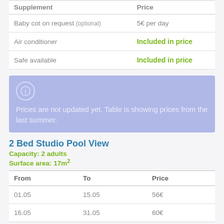| Supplement | Price |
| --- | --- |
| Baby cot on request (optional) | 5€ per day |
| Air conditioner | Included in price |
| Safe available | Included in price |
Prices are not updated yet. Table is showing prices from the last summer.
2 Bed Studio Pool View
Capacity: 2 adults
Surface area: 17m²
| From | To | Price |
| --- | --- | --- |
| 01.05 | 15.05 | 56€ |
| 16.05 | 31.05 | 60€ |